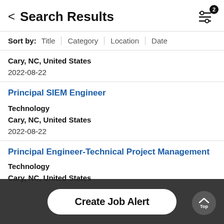Search Results
Sort by: Title | Category | Location | Date
Cary, NC, United States
2022-08-22
Principal SIEM Engineer
Technology
Cary, NC, United States
2022-08-22
Principal Engineer-Technical Project Management
Technology
Cary, NC, United States
Create Job Alert